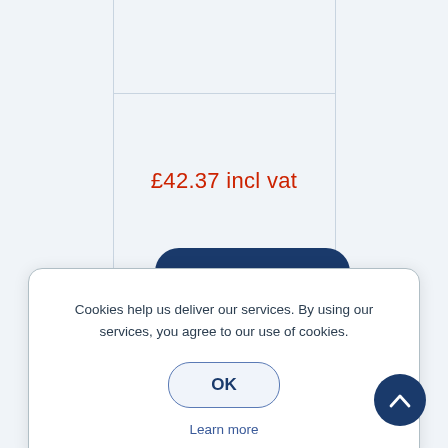£42.37 incl vat
[Figure (screenshot): Cookie consent modal dialog with message 'Cookies help us deliver our services. By using our services, you agree to our use of cookies.' with OK button and Learn more link]
Cookies help us deliver our services. By using our services, you agree to our use of cookies.
OK
Learn more